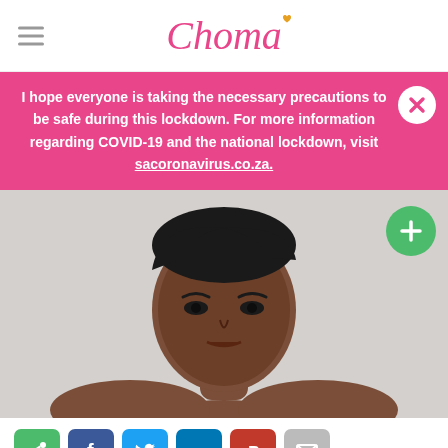Choma
I hope everyone is taking the necessary precautions to be safe during this lockdown. For more information regarding COVID-19 and the national lockdown, visit sacoronavirus.co.za.
[Figure (photo): Portrait photo of a young Black woman with short dark hair, neutral expression, bare shoulders, against a light grey background]
Share icons: general share, Facebook, Twitter, LinkedIn, Pinterest, Email